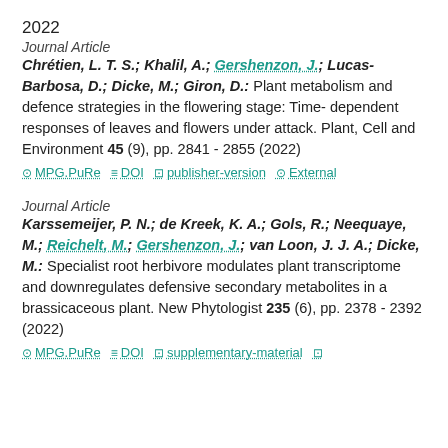2022
Journal Article
Chrétien, L. T. S.; Khalil, A.; Gershenzon, J.; Lucas-Barbosa, D.; Dicke, M.; Giron, D.: Plant metabolism and defence strategies in the flowering stage: Time- dependent responses of leaves and flowers under attack. Plant, Cell and Environment 45 (9), pp. 2841 - 2855 (2022)
MPG.PuRe | DOI | publisher-version | External
Journal Article
Karssemeijer, P. N.; de Kreek, K. A.; Gols, R.; Neequaye, M.; Reichelt, M.; Gershenzon, J.; van Loon, J. J. A.; Dicke, M.: Specialist root herbivore modulates plant transcriptome and downregulates defensive secondary metabolites in a brassicaceous plant. New Phytologist 235 (6), pp. 2378 - 2392 (2022)
MPG.PuRe | DOI | supplementary-material